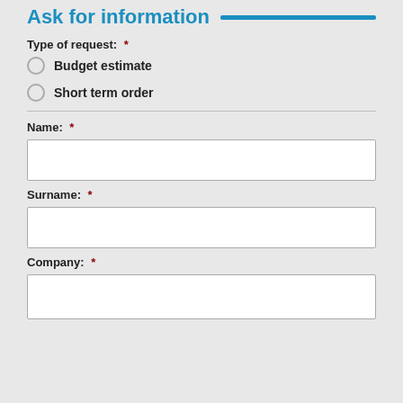Ask for information
Type of request:  *
Budget estimate
Short term order
Name:  *
Surname:  *
Company:  *